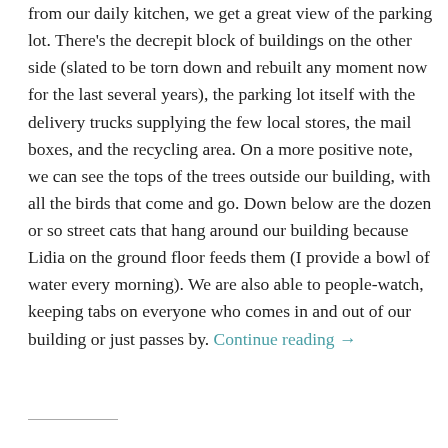from our daily kitchen, we get a great view of the parking lot. There's the decrepit block of buildings on the other side (slated to be torn down and rebuilt any moment now for the last several years), the parking lot itself with the delivery trucks supplying the few local stores, the mail boxes, and the recycling area. On a more positive note, we can see the tops of the trees outside our building, with all the birds that come and go. Down below are the dozen or so street cats that hang around our building because Lidia on the ground floor feeds them (I provide a bowl of water every morning). We are also able to people-watch, keeping tabs on everyone who comes in and out of our building or just passes by. Continue reading →